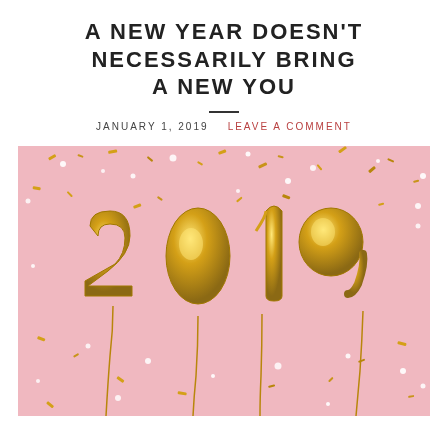A NEW YEAR DOESN'T NECESSARILY BRING A NEW YOU
JANUARY 1, 2019   LEAVE A COMMENT
[Figure (photo): Pink background with gold metallic balloon numbers spelling '2019' surrounded by gold confetti and white sparkles]